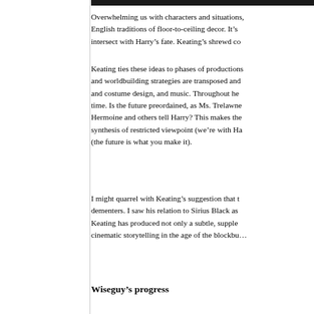[Figure (photo): A photograph strip at the top of the right column, dark/black image.]
Overwhelming us with characters and situations, English traditions of floor-to-ceiling decor. It’s intersect with Harry’s fate. Keating’s shrewd co
Keating ties these ideas to phases of productions and worldbuilding strategies are transposed and and costume design, and music. Throughout he time. Is the future preordained, as Ms. Trelawne Hermoine and others tell Harry? This makes the synthesis of restricted viewpoint (we’re with Ha (the future is what you make it).
I might quarrel with Keating’s suggestion that t dementers. I saw his relation to Sirius Black as Keating has produced not only a subtle, supple cinematic storytelling in the age of the blockbu…
Wiseguy’s progress